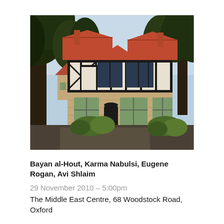[Figure (photo): Exterior photograph of a Tudor-style building with half-timbered upper storey, red tiled roof, stone ground floor, large windows, surrounded by tall trees and garden shrubs. Likely The Middle East Centre, 68 Woodstock Road, Oxford.]
Bayan al-Hout, Karma Nabulsi, Eugene Rogan, Avi Shlaim
29 November 2010 – 5:00pm
The Middle East Centre, 68 Woodstock Road, Oxford